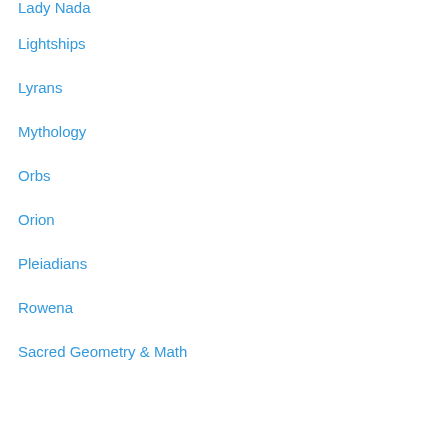Lady Nada
Lightships
Lyrans
Mythology
Orbs
Orion
Pleiadians
Rowena
Sacred Geometry & Math
Sirians
Sky Signs
Tau Ceti
Twin Flames & Twin Souls
Uncategorized
Venusians
Archives